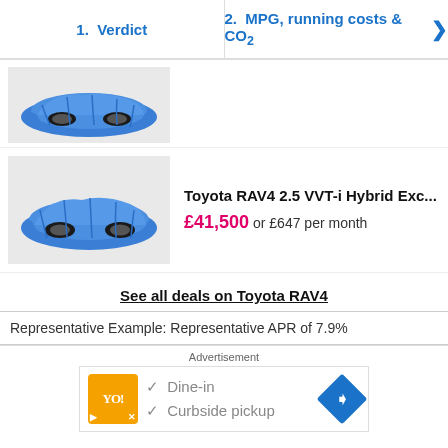1. Verdict | 2. MPG, running costs & CO2
[Figure (photo): Car covered with blue cloth/tarp - first listing thumbnail]
[Figure (photo): Car covered with blue cloth/tarp - second listing thumbnail]
Toyota RAV4 2.5 VVT-i Hybrid Exc...
£41,500 or £647 per month
See all deals on Toyota RAV4
Representative Example: Representative APR of 7.9%
Advertisement
[Figure (infographic): Advertisement banner: restaurant listing with Dine-in and Curbside pickup options, navigation arrow icon]